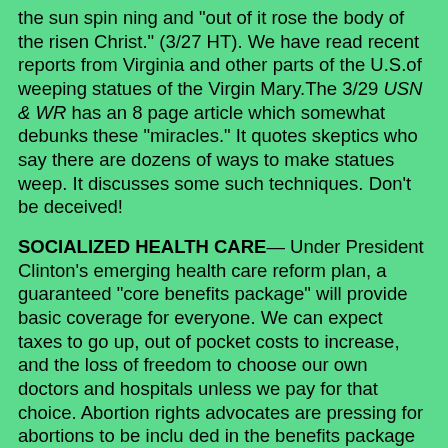the sun spin ning and "out of it rose the body of the risen Christ." (3/27 HT). We have read recent reports from Virginia and other parts of the U.S.of weeping statues of the Virgin Mary.The 3/29 USN & WR has an 8 page article which somewhat debunks these "miracles." It quotes skeptics who say there are dozens of ways to make statues weep. It discusses some such techniques. Don't be deceived!
SOCIALIZED HEALTH CARE— Under President Clinton's emerging health care reform plan, a guaranteed "core benefits package" will provide basic coverage for everyone. We can expect taxes to go up, out of pocket costs to increase, and the loss of freedom to choose our own doctors and hospitals unless we pay for that choice. Abortion rights advocates are pressing for abortions to be inclu ded in the benefits package that all tax payers would be forced to fund. AIDS and veneral dis ease costs are soaring. So, the total costs of Clinton's reforms may be well over $100 billion a year (4/12 USN&WR). Despite all the government imposed rules,regulations and paper work of our present system, 85 percent of Americans are satisfied with it, it may not be right to do to it...